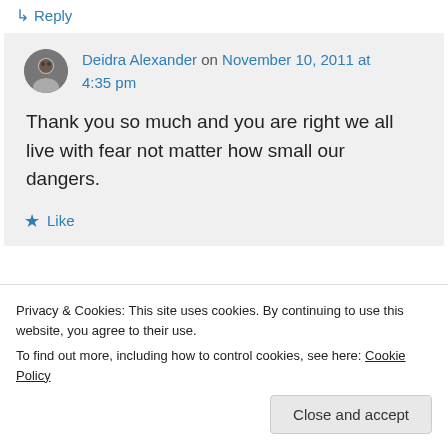↳ Reply
Deidra Alexander on November 10, 2011 at 4:35 pm
Thank you so much and you are right we all live with fear not matter how small our dangers.
★ Like
Privacy & Cookies: This site uses cookies. By continuing to use this website, you agree to their use.
To find out more, including how to control cookies, see here: Cookie Policy
Close and accept